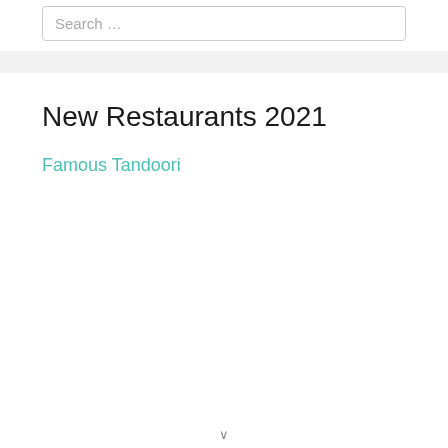Search …
New Restaurants 2021
Famous Tandoori
∨